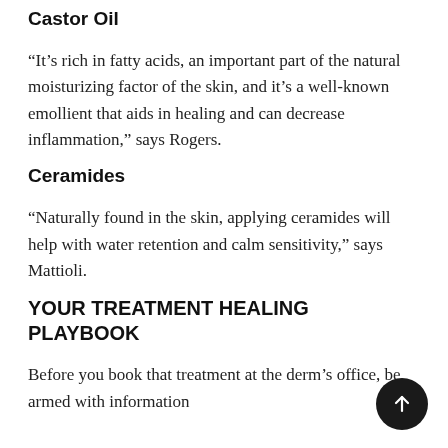Castor Oil
“It’s rich in fatty acids, an important part of the natural moisturizing factor of the skin, and it’s a well-known emollient that aids in healing and can decrease inflammation,” says Rogers.
Ceramides
“Naturally found in the skin, applying ceramides will help with water retention and calm sensitivity,” says Mattioli.
YOUR TREATMENT HEALING PLAYBOOK
Before you book that treatment at the derm’s office, be armed with information